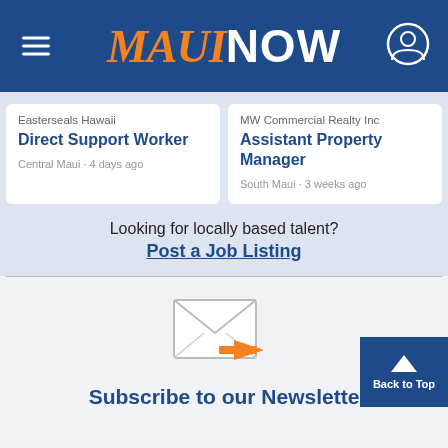Maui Now
Easterseals Hawaii
Direct Support Worker
Central Maui · 4 days ago
MW Commercial Realty Inc
Assistant Property Manager
South Maui · 3 weeks ago
Looking for locally based talent?
Post a Job Listing
[Figure (illustration): Envelope with orange arrow newsletter icon]
Subscribe to our Newsletter